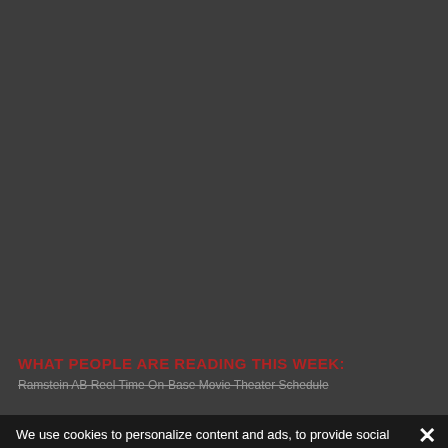WHAT PEOPLE ARE READING THIS WEEK:
Ramstein AB Reel Time On-Base Movie Theater Schedule
We use cookies to personalize content and ads, to provide social media features and to analyze our traffic. We also share information about your use of our site with our social media adverti... informa...
[Figure (infographic): Euler Group Military Sales advertisement banner showing BMW/MINI dealer at Kuseler Str. 20, Baumholder, with a white BMW car on dark background, dealer badge, and Euler Group logo box with BMW and MINI logos]
EULER GROUP MILITARY SALES
KUSELER STR. 20
BAUMHOLDER